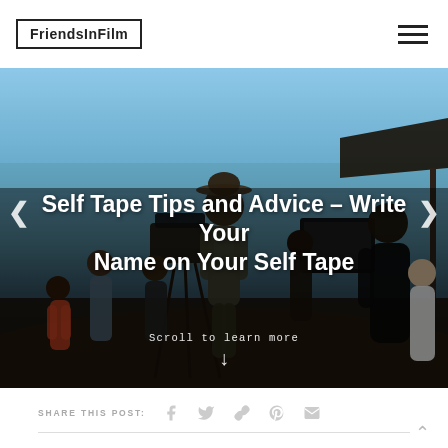FriendsInFilm
[Figure (photo): Film crew working on a beach set at sunset/golden hour, with cameras, equipment, and multiple crew members visible. Image serves as hero background for a blog post.]
Self Tape Tips and Advice – Write Your Name on Your Self Tape
Scroll to learn more
SHARE THIS POST: